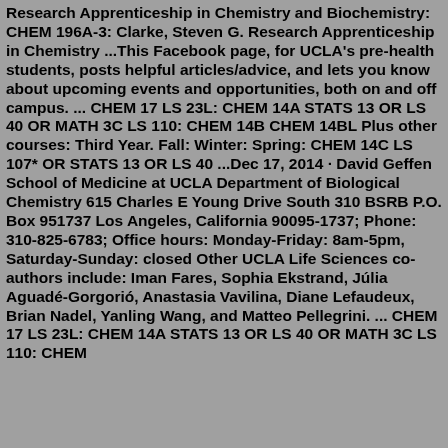Research Apprenticeship in Chemistry and Biochemistry: CHEM 196A-3: Clarke, Steven G. Research Apprenticeship in Chemistry ...This Facebook page, for UCLA's pre-health students, posts helpful articles/advice, and lets you know about upcoming events and opportunities, both on and off campus. ... CHEM 17 LS 23L: CHEM 14A STATS 13 OR LS 40 OR MATH 3C LS 110: CHEM 14B CHEM 14BL Plus other courses: Third Year. Fall: Winter: Spring: CHEM 14C LS 107* OR STATS 13 OR LS 40 ...Dec 17, 2014 · David Geffen School of Medicine at UCLA Department of Biological Chemistry 615 Charles E Young Drive South 310 BSRB P.O. Box 951737 Los Angeles, California 90095-1737; Phone: 310-825-6783; Office hours: Monday-Friday: 8am-5pm, Saturday-Sunday: closed Other UCLA Life Sciences co-authors include: Iman Fares, Sophia Ekstrand, Júlia Aguadé-Gorgorió, Anastasia Vavilina, Diane Lefaudeux, Brian Nadel, Yanling Wang, and Matteo Pellegrini. ... CHEM 17 LS 23L: CHEM 14A STATS 13 OR LS 40 OR MATH 3C LS 110: CHEM